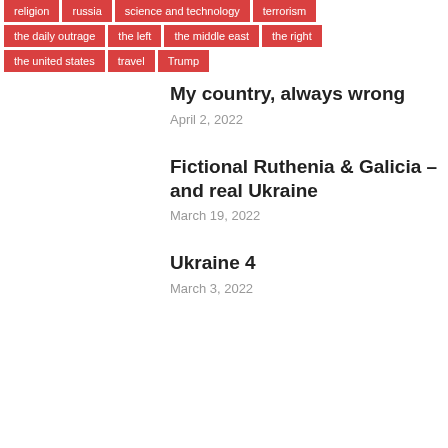religion  russia  science and technology  terrorism
the daily outrage  the left  the middle east  the right
the united states  travel  Trump
My country, always wrong
April 2, 2022
Fictional Ruthenia & Galicia – and real Ukraine
March 19, 2022
Ukraine 4
March 3, 2022